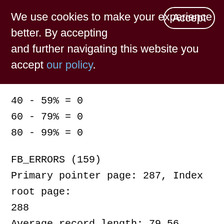We use cookies to make your experience better. By accepting and further navigating this website you accept our policy.
40 - 59% = 0
60 - 79% = 0
80 - 99% = 0
FB_ERRORS (159)
Primary pointer page: 287, Index root page: 288
Average record length: 79.56, total records: 758
Average version length: 0.00, total versions: 0, max versions: 0
Data pages: 12, data page slots: 12,